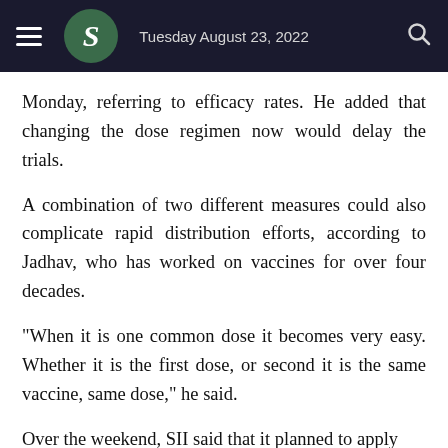Tuesday August 23, 2022
Monday, referring to efficacy rates. He added that changing the dose regimen now would delay the trials.
A combination of two different measures could also complicate rapid distribution efforts, according to Jadhav, who has worked on vaccines for over four decades.
"When it is one common dose it becomes very easy. Whether it is the first dose, or second it is the same vaccine, same dose," he said.
Over the weekend, SII said that it planned to apply